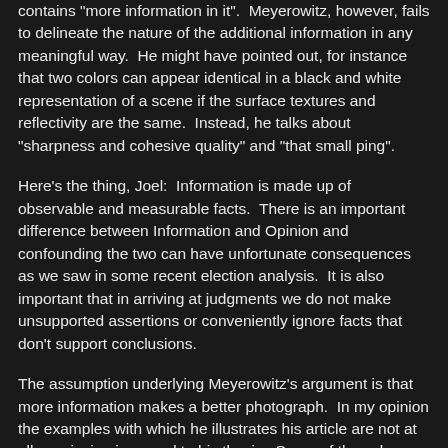contains "more information in it". Meyerowitz, however, fails to delineate the nature of the additional information in any meaningful way. He might have pointed out, for instance that two colors can appear identical in a black and white representation of a scene if the surface textures and reflectivity are the same. Instead, he talks about "sharpness and cohesive quality" and "that small ping".
Here's the thing, Joel: Information is made up of observable and measurable facts. There is an important difference between Information and Opinion and confounding the two can have unfortunate consequences as we saw in some recent election analysis. It is also important that in arriving at judgments we do not make unsupported assertions or conveniently ignore facts that don't support conclusions.
The assumption underlying Meyerowitz's argument is that more information makes a better photograph. In my opinion the examples with which he illustrates his article are not at all convincing in regard to his thesis. Some of the color pictures are very nearly monochrome, and I thought them all pretty forgetable regardless of chromatic considerations. In